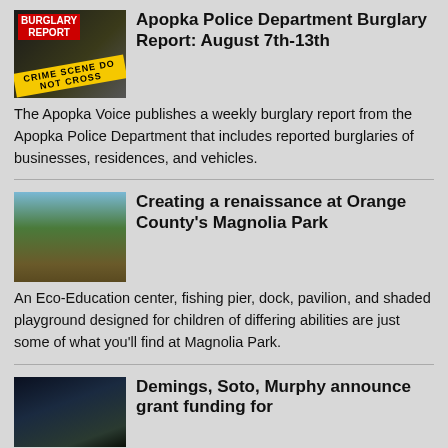[Figure (photo): Burglary Report thumbnail image with yellow crime scene tape and red label reading BURGLARY REPORT]
Apopka Police Department Burglary Report: August 7th-13th
The Apopka Voice publishes a weekly burglary report from the Apopka Police Department that includes reported burglaries of businesses, residences, and vehicles.
[Figure (photo): Outdoor photo of Magnolia Park showing trees, a wooden boardwalk/deck, and a lake in the background under a blue sky]
Creating a renaissance at Orange County's Magnolia Park
An Eco-Education center, fishing pier, dock, pavilion, and shaded playground designed for children of differing abilities are just some of what you'll find at Magnolia Park.
[Figure (photo): Dark nighttime photo for Demings, Soto, Murphy article]
Demings, Soto, Murphy announce grant funding for